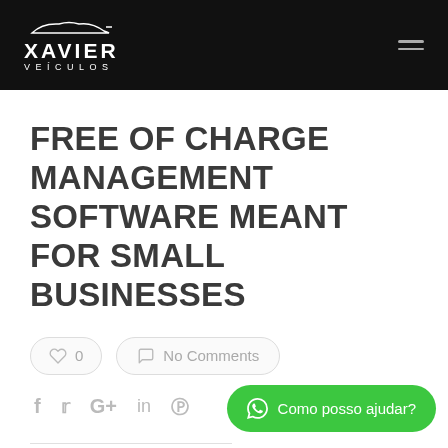XAVIER VEÍCULOS
FREE OF CHARGE MANAGEMENT SOFTWARE MEANT FOR SMALL BUSINESSES
♡ 0   No Comments
f  𝕎  G+  in  ⊕
Como posso ajudar?